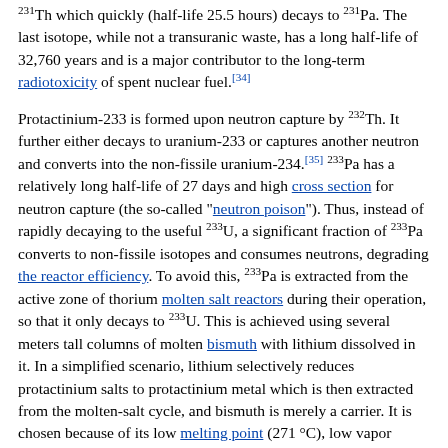231Th which quickly (half-life 25.5 hours) decays to 231Pa. The last isotope, while not a transuranic waste, has a long half-life of 32,760 years and is a major contributor to the long-term radiotoxicity of spent nuclear fuel.[34]
Protactinium-233 is formed upon neutron capture by 232Th. It further either decays to uranium-233 or captures another neutron and converts into the non-fissile uranium-234.[35] 233Pa has a relatively long half-life of 27 days and high cross section for neutron capture (the so-called "neutron poison"). Thus, instead of rapidly decaying to the useful 233U, a significant fraction of 233Pa converts to non-fissile isotopes and consumes neutrons, degrading the reactor efficiency. To avoid this, 233Pa is extracted from the active zone of thorium molten salt reactors during their operation, so that it only decays to 233U. This is achieved using several meters tall columns of molten bismuth with lithium dissolved in it. In a simplified scenario, lithium selectively reduces protactinium salts to protactinium metal which is then extracted from the molten-salt cycle, and bismuth is merely a carrier. It is chosen because of its low melting point (271 °C), low vapor pressure, good solubility for lithium and actinides, and immiscibility with molten halides.[34]